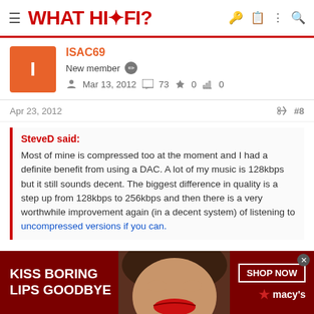WHAT HI-FI?
ISAC69
New member  Mar 13, 2012  73  0  0
Apr 23, 2012  #8
SteveD said:
Most of mine is compressed too at the moment and I had a definite benefit from using a DAC. A lot of my music is 128kbps but it still sounds decent. The biggest difference in quality is a step up from 128kbps to 256kbps and then there is a very worthwhile improvement again (in a decent system) of listening to uncompressed versions if you can.
[Figure (photo): Macy's advertisement banner: 'KISS BORING LIPS GOODBYE' with photo of woman's face and lips, SHOP NOW button and Macy's star logo]